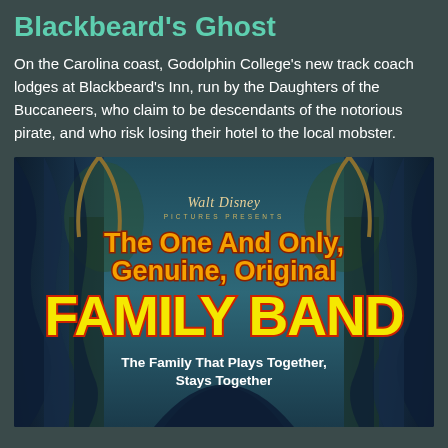Blackbeard's Ghost
On the Carolina coast, Godolphin College's new track coach lodges at Blackbeard's Inn, run by the Daughters of the Buccaneers, who claim to be descendants of the notorious pirate, and who risk losing their hotel to the local mobster.
[Figure (illustration): Movie poster for 'The One And Only, Genuine, Original Family Band' — a Walt Disney Pictures Presents film. The poster features dramatic blue theatrical curtains and arched columns framing bold orange and yellow text. Tagline reads: The Family That Plays Together, Stays Together.]